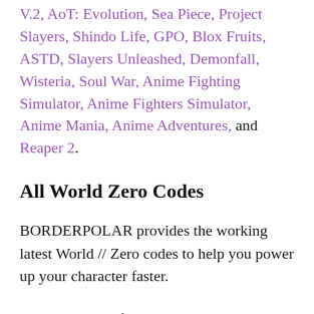V.2, AoT: Evolution, Sea Piece, Project Slayers, Shindo Life, GPO, Blox Fruits, ASTD, Slayers Unleashed, Demonfall, Wisteria, Soul War, Anime Fighting Simulator, Anime Fighters Simulator, Anime Mania, Anime Adventures, and Reaper 2.
All World Zero Codes
BORDERPOLAR provides the working latest World // Zero codes to help you power up your character faster.
Below you will find all the active and expired codes. We don't know when the codes will